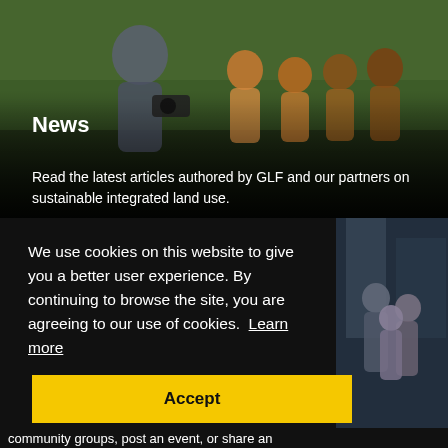[Figure (photo): Person with camera surrounded by smiling children outdoors with green vegetation in background]
News
Read the latest articles authored by GLF and our partners on sustainable integrated land use.
We use cookies on this website to give you a better user experience. By continuing to browse the site, you are agreeing to our use of cookies.  Learn more
Accept
[Figure (photo): People standing outdoors, partial view on right side]
community groups, post an event, or share an